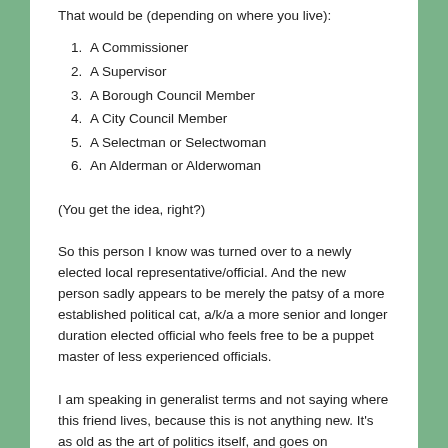That would be (depending on where you live):
1. A Commissioner
2. A Supervisor
3. A Borough Council Member
4. A City Council Member
5. A Selectman or Selectwoman
6. An Alderman or Alderwoman
(You get the idea, right?)
So this person I know was turned over to a newly elected local representative/official. And the new person sadly appears to be merely the patsy of a more established political cat, a/k/a a more senior and longer duration elected official who feels free to be a puppet master of less experienced officials.
I am speaking in generalist terms and not saying where this friend lives, because this is not anything new. It's as old as the art of politics itself, and goes on everywhere. I have experienced it in Chester County.